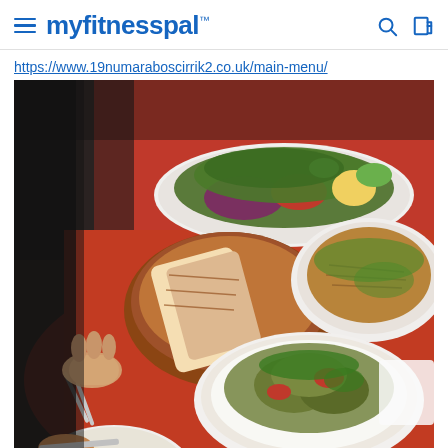myfitnesspal
https://www.19numaraboscirrik2.co.uk/main-menu/
[Figure (photo): Overhead view of a restaurant table with a red tablecloth showing several Turkish mezze dishes: a salad with herbs, tomatoes, red cabbage and lemon wedge on an oval white plate; a wooden bowl with grilled flatbread; a white plate with shredded kebab meat topped with herbs and onions; a white plate with eggplant/aubergine dish topped with yogurt, tomatoes, and parsley; and a partial view of another dish at the bottom. Two people's hands are visible holding cutlery.]